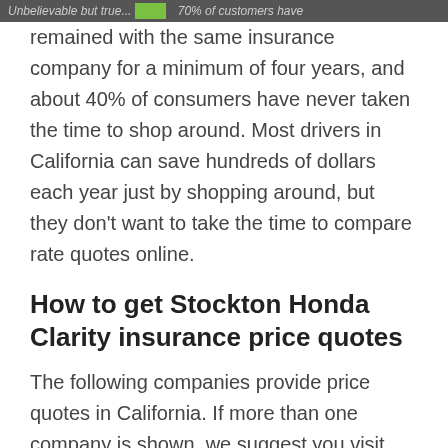Unbelievable but true... 70% of customers have
remained with the same insurance company for a minimum of four years, and about 40% of consumers have never taken the time to shop around. Most drivers in California can save hundreds of dollars each year just by shopping around, but they don’t want to take the time to compare rate quotes online.
How to get Stockton Honda Clarity insurance price quotes
The following companies provide price quotes in California. If more than one company is shown, we suggest you visit several of them to find the most affordable auto insurance rates.